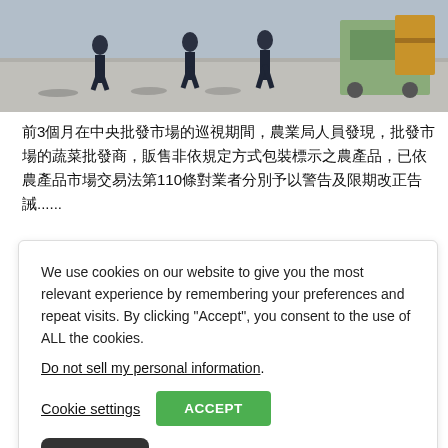[Figure (photo): Outdoor market or street scene with people walking, long shadows on pavement, and cargo carts with boxes on the right side.]
前3個月在中央批發市場的巡視期間，農業局人員發現，批發市場的蔬菜批發商，販售非依規定方式包裝標示之農產品，已依農產品市場交易法第110條對業者分別予以警告及限期改正告誡......
We use cookies on our website to give you the most relevant experience by remembering your preferences and repeat visits. By clicking “Accept”, you consent to the use of ALL the cookies.
Do not sell my personal information.
Cookie settings
ACCEPT
Chinese